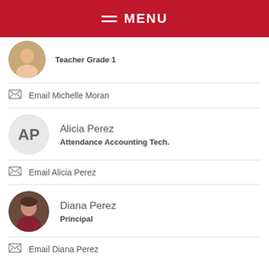MENU
Teacher Grade 1
Email Michelle Moran
Alicia Perez
Attendance Accounting Tech.
Email Alicia Perez
Diana Perez
Principal
Email Diana Perez